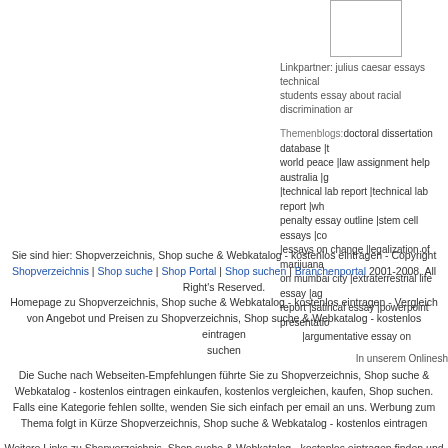[Figure (other): Small white image box with border]
Linkpartner: julius caesar essays technical students essay about racial discrimination ar
Themenblogs:doctoral dissertation database |t world peace |law assignment help australia |g |technical lab report |technical lab report |wh penalty essay outline |stem cell essays |co |essays on change |legalization of marijuana on mumbai city |extraterrestrial life essay |ag report |satirical essay |powerpoint presentatio |argumentative essay on
In unserem Onlinesh
Sie sind hier: Shopverzeichnis, Shop suche & Webkatalog - kostenlos eintragen - Copyright Shopverzeichnis | Shop suche | Shop Portal | Shop suchen | Branchenportal 2001-2008, All Right's Reserved. Homepage zu Shopverzeichnis, Shop suche & Webkatalog - kostenlos eintragen - Vergleich von Angebot und Preisen zu Shopverzeichnis, Shop suche & Webkatalog - kostenlos eintragen suchen
Die Suche nach Webseiten-Empfehlungen führte Sie zu Shopverzeichnis, Shop suche & Webkatalog - kostenlos eintragen einkaufen, kostenlos vergleichen, kaufen, Shop suchen. Falls eine Kategorie fehlen sollte, wenden Sie sich einfach per email an uns. Werbung zum Thema folgt in Kürze Shopverzeichnis, Shop suche & Webkatalog - kostenlos eintragen
Weitere Links zu Shopverzeichnis, Shop suche & Webkatalog - kostenlos eintragen finden und vergleichen Sie im Shopverzeichnis. Webkatalog für Shopverzeichnis, Shop suche & Webkatalog - kostenlos eintragen , gratis suchen, kaufen und interessante online - Angebote im Internet. Internetseiten die zur Kategorie Shopverzeichnis, Shop suche & Webkatalog - kostenlos